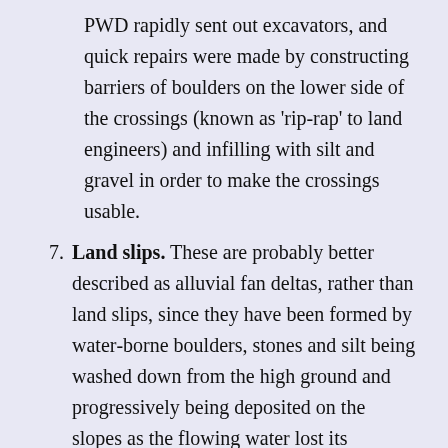PWD rapidly sent out excavators, and quick repairs were made by constructing barriers of boulders on the lower side of the crossings (known as 'rip-rap' to land engineers) and infilling with silt and gravel in order to make the crossings usable.
7. Land slips. These are probably better described as alluvial fan deltas, rather than land slips, since they have been formed by water-borne boulders, stones and silt being washed down from the high ground and progressively being deposited on the slopes as the flowing water lost its momentum, rather than the mountainside slipping away en masse and being deposited on the plain. The area and volume of the land slip which